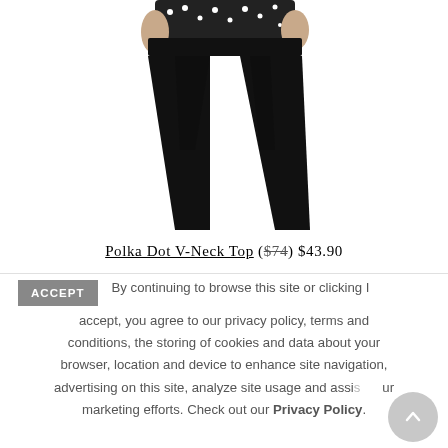[Figure (photo): Product photo showing black pants worn by a model, cropped to show from waist to ankle, white background]
Polka Dot V-Neck Top ($74) $43.90
ACCEPT  By continuing to browse this site or clicking I accept, you agree to our privacy policy, terms and conditions, the storing of cookies and data about your browser, location and device to enhance site navigation, advertising on this site, analyze site usage and assist our marketing efforts. Check out our Privacy Policy.